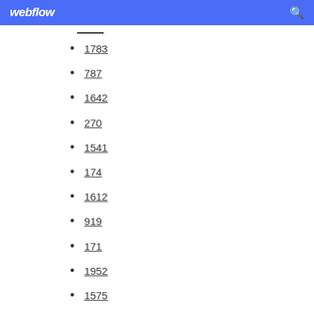webflow
1783
787
1642
270
1541
174
1612
919
171
1952
1575
480